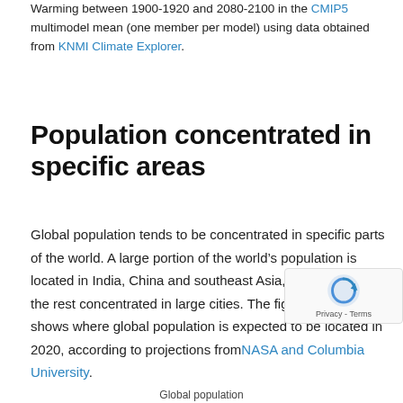Warming between 1900-1920 and 2080-2100 in the CMIP5 multimodel mean (one member per model) using data obtained from KNMI Climate Explorer.
Population concentrated in specific areas
Global population tends to be concentrated in specific parts of the world. A large portion of the world’s population is located in India, China and southeast Asia, with much of the rest concentrated in large cities. The figure below shows where global population is expected to be located in 2020, according to projections from NASA and Columbia University.
Global population